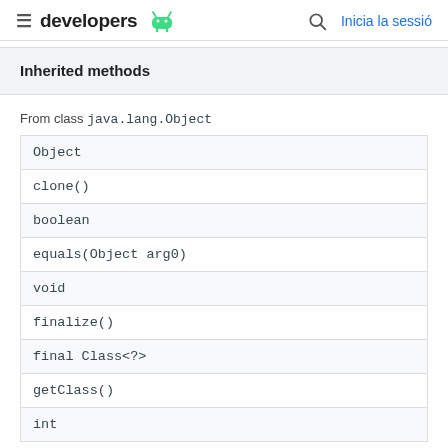developers  Inicia la sessió
Inherited methods
From class java.lang.Object
| Object |
| clone() |
| boolean |
| equals(Object arg0) |
| void |
| finalize() |
| final Class<?> |
| getClass() |
| int |